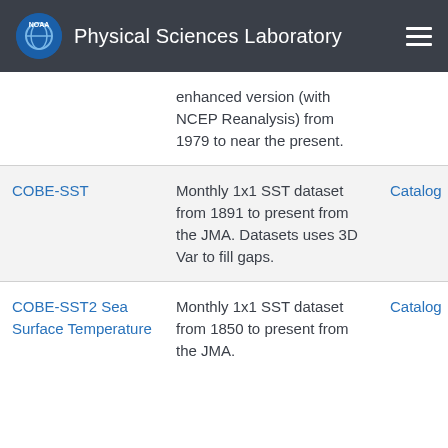Physical Sciences Laboratory
| Name | Description | Links |
| --- | --- | --- |
|  | enhanced version (with NCEP Reanalysis) from 1979 to near the present. |  |
| COBE-SST | Monthly 1x1 SST dataset from 1891 to present from the JMA. Datasets uses 3D Var to fill gaps. | Catalog |
| COBE-SST2 Sea Surface Temperature | Monthly 1x1 SST dataset from 1850 to present from the JMA. | Catalog |